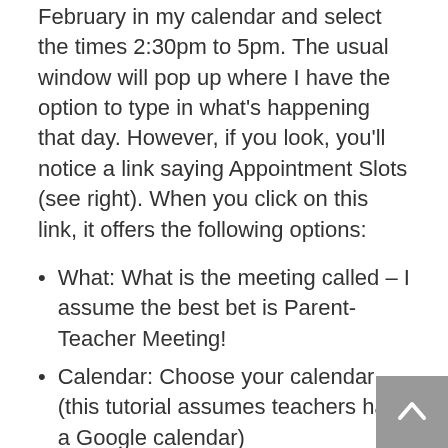February in my calendar and select the times 2:30pm to 5pm. The usual window will pop up where I have the option to type in what's happening that day. However, if you look, you'll notice a link saying Appointment Slots (see right). When you click on this link, it offers the following options:
What: What is the meeting called – I assume the best bet is Parent-Teacher Meeting!
Calendar: Choose your calendar (this tutorial assumes teachers have a Google calendar)
Type: Here, I would choose Offer as slots of X minutes, where X is the number of minutes you have available for each meeting. In Ireland, meetings